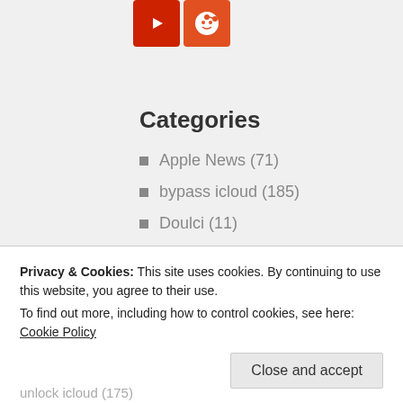[Figure (logo): YouTube icon - red square with white play button]
[Figure (logo): Reddit icon - orange-red square with white alien mascot]
Categories
Apple News (71)
bypass icloud (185)
Doulci (11)
hacks (180)
icloud (144)
iOS bug (37)
Privacy & Cookies: This site uses cookies. By continuing to use this website, you agree to their use.
To find out more, including how to control cookies, see here: Cookie Policy
Close and accept
unlock icloud (175)